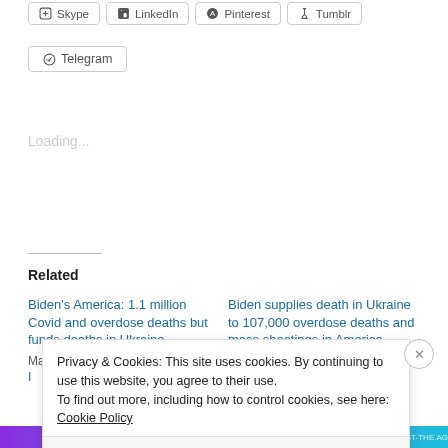[Figure (screenshot): Social share buttons: Skype, LinkedIn, Pinterest, Tumblr, Telegram]
Loading...
Related
Biden's America: 1.1 million Covid and overdose deaths but funds deaths in Ukraine
May 14, 2022
Biden supplies death in Ukraine to 107,000 overdose deaths and mass shootings in America
Privacy & Cookies: This site uses cookies. By continuing to use this website, you agree to their use.
To find out more, including how to control cookies, see here: Cookie Policy
Close and accept